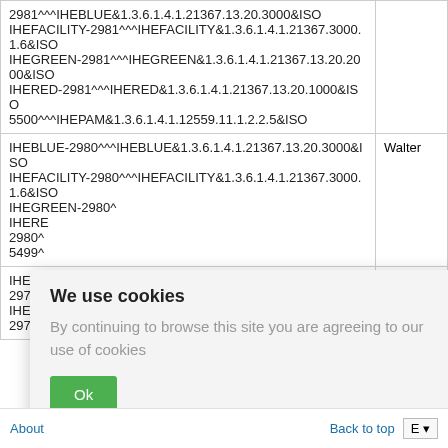| Identifier | Name |
| --- | --- |
| 2981^^^IHEBLUE&1.3.6.1.4.1.21367.13.20.3000&ISO
IHEFACILITY-2981^^^IHEFACILITY&1.3.6.1.4.1.21367.3000.1.6&ISO
IHEGREEN-2981^^^IHEGREEN&1.3.6.1.4.1.21367.13.20.2000&ISO
IHERED-2981^^^IHERED&1.3.6.1.4.1.21367.13.20.1000&ISO
5500^^^IHEPAM&1.3.6.1.4.1.12559.11.1.2.2.5&ISO |  |
| IHEBLUE-2980^^^IHEBLUE&1.3.6.1.4.1.21367.13.20.3000&ISO
IHEFACILITY-2980^^^IHEFACILITY&1.3.6.1.4.1.21367.3000.1.6&ISO
IHEGREEN-2980~
IHERED-2980~
5499~ | Walter |
| IHEBL-2979~
IHEFA-2979~ | Ines |
We use cookies
By continuing to browse this site you are agreeing to our use of cookies
Ok
About   Back to top   E